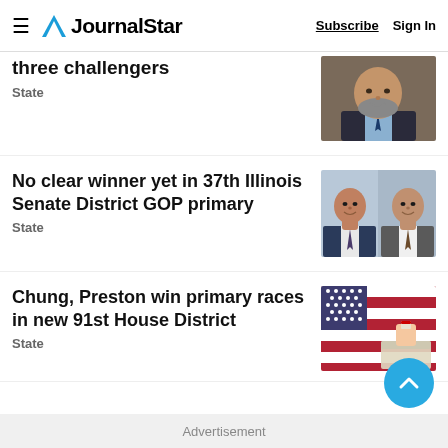JournalStar — Subscribe | Sign In
three challengers
State
[Figure (photo): Headshot of a man with a beard wearing a suit and tie]
No clear winner yet in 37th Illinois Senate District GOP primary
State
[Figure (photo): Two men in suits side by side, smiling]
Chung, Preston win primary races in new 91st House District
State
[Figure (photo): Hand inserting a ballot into a ballot box against an American flag background]
Advertisement